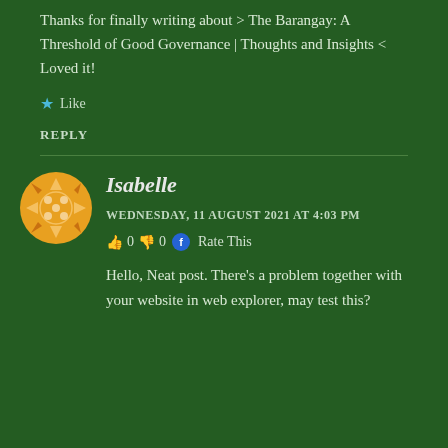Thanks for finally writing about > The Barangay: A Threshold of Good Governance | Thoughts and Insights < Loved it!
Like
REPLY
Isabelle
WEDNESDAY, 11 AUGUST 2021 AT 4:03 PM
👍 0 👎 0 🔵 Rate This
Hello, Neat post. There's a problem together with your website in web explorer, may test this?